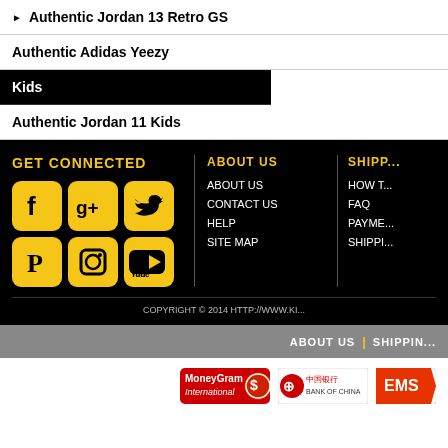▶ Authentic Jordan 13 Retro GS
Authentic Adidas Yeezy
Kids
Authentic Jordan 11 Kids
[Figure (infographic): Footer with GET CONNECTED social media icons (Facebook, Google+, Twitter, Pinterest, Instagram, YouTube), ABOUT US links, and SHIPP... column on black background]
COPYRIGHT © 2014 HTTP://WWW.KI...
ABOUT US | SHIPPIN...
[Figure (logo): Payment logos: MoneyGram International, Bank of China, EMS]